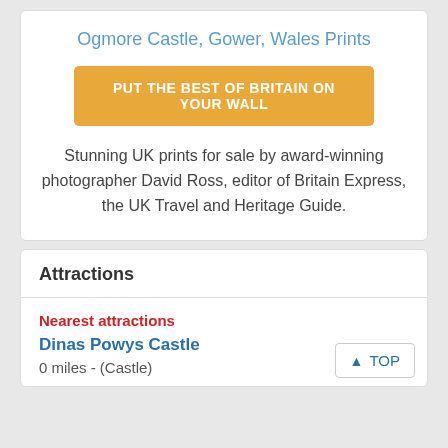Ogmore Castle, Gower, Wales Prints
PUT THE BEST OF BRITAIN ON YOUR WALL
Stunning UK prints for sale by award-winning photographer David Ross, editor of Britain Express, the UK Travel and Heritage Guide.
Attractions
Nearest attractions
Dinas Powys Castle
0 miles - (Castle)